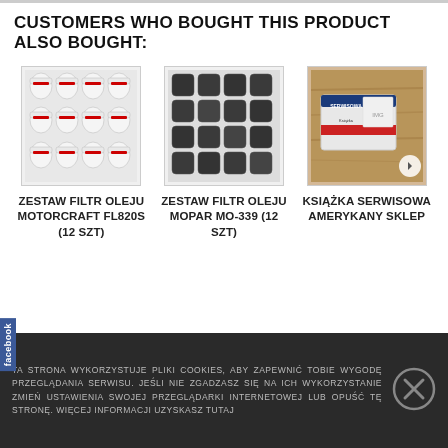CUSTOMERS WHO BOUGHT THIS PRODUCT ALSO BOUGHT:
[Figure (photo): Grid of 12 white Motorcraft FL820S oil filters]
ZESTAW FILTR OLEJU MOTORCRAFT FL820S (12 SZT)
[Figure (photo): Grid of 12 dark/black Mopar MO-339 oil filters]
ZESTAW FILTR OLEJU MOPAR MO-339 (12 SZT)
[Figure (photo): Package of Książka Serwisowa Amerykany Sklep on wooden surface]
KSIĄŻKA SERWISOWA AMERYKANY SKLEP
TA STRONA WYKORZYSTUJE PLIKI COOKIES, ABY ZAPEWNIĆ TOBIE WYGODĘ PRZEGLĄDANIA SERWISU. JEŚLI NIE ZGADZASZ SIĘ NA ICH WYKORZYSTANIE ZMIEŃ USTAWIENIA SWOJEJ PRZEGLĄDARKI INTERNETOWEJ LUB OPUŚĆ TĘ STRONĘ. WIĘCEJ INFORMACJI UZYSKASZ TUTAJ